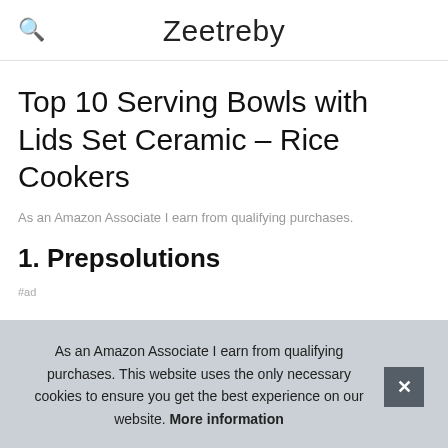Zeetreby
Top 10 Serving Bowls with Lids Set Ceramic – Rice Cookers
As an Amazon Associate I earn from qualifying purchases.
1. Prepsolutions
As an Amazon Associate I earn from qualifying purchases. This website uses the only necessary cookies to ensure you get the best experience on our website. More information